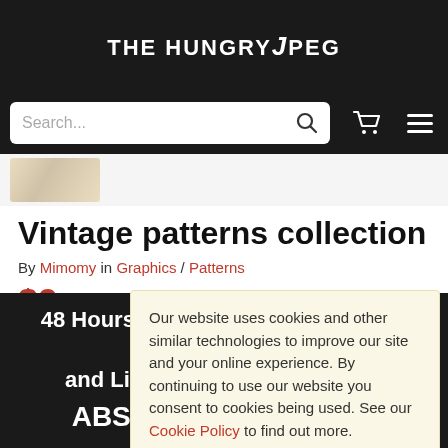THE HUNGRY JPEG
[Figure (screenshot): Search bar with cart and menu icons on dark background]
[Figure (photo): Thumbnail strip showing vintage pattern product image]
Vintage patterns collection
By Mimomy in Graphics / Patterns
$9
Save
Our website uses cookies and other similar technologies to improve our site and your online experience. By continuing to use our website you consent to cookies being used. See our Cookie Policy to find out more.
48 Hours Only! Get 20% Off The Abstract and Line Art Bundle! Code: ABSTRACTBUNDLE